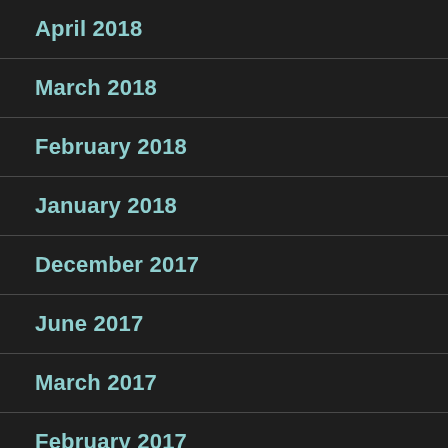April 2018
March 2018
February 2018
January 2018
December 2017
June 2017
March 2017
February 2017